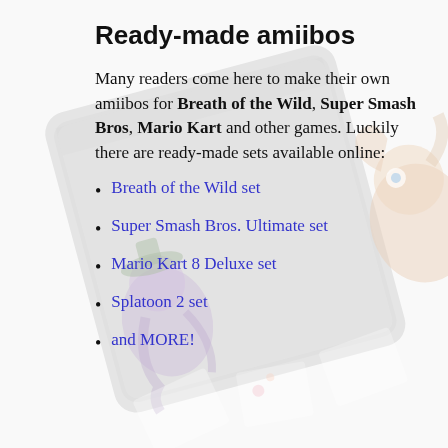[Figure (illustration): Background image showing a tablet device with colorful Nintendo game character illustrations (Splatoon-style characters, Mario characters) faded into the background.]
Ready-made amiibos
Many readers come here to make their own amiibos for Breath of the Wild, Super Smash Bros, Mario Kart and other games. Luckily there are ready-made sets available online:
Breath of the Wild set
Super Smash Bros. Ultimate set
Mario Kart 8 Deluxe set
Splatoon 2 set
and MORE!